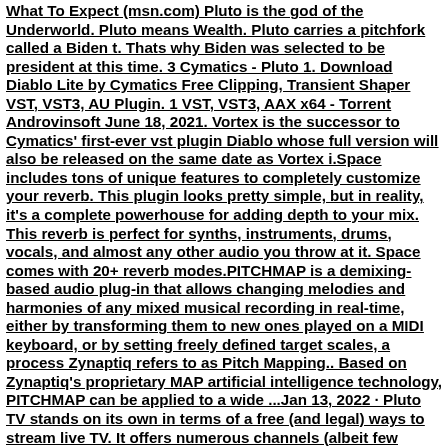What To Expect (msn.com) Pluto is the god of the Underworld. Pluto means Wealth. Pluto carries a pitchfork called a Biden t. Thats why Biden was selected to be president at this time. 3 Cymatics - Pluto 1. Download Diablo Lite by Cymatics Free Clipping, Transient Shaper VST, VST3, AU Plugin. 1 VST, VST3, AAX x64 - Torrent Androvinsoft June 18, 2021. Vortex is the successor to Cymatics' first-ever vst plugin Diablo whose full version will also be released on the same date as Vortex i.Space includes tons of unique features to completely customize your reverb. This plugin looks pretty simple, but in reality, it's a complete powerhouse for adding depth to your mix. This reverb is perfect for synths, instruments, drums, vocals, and almost any other audio you throw at it. Space comes with 20+ reverb modes.PITCHMAP is a demixing-based audio plug-in that allows changing melodies and harmonies of any mixed musical recording in real-time, either by transforming them to new ones played on a MIDI keyboard, or by setting freely defined target scales, a process Zynaptiq refers to as Pitch Mapping.. Based on Zynaptiq's proprietary MAP artificial intelligence technology, PITCHMAP can be applied to a wide ...Jan 13, 2022 · Pluto TV stands on its own in terms of a free (and legal) ways to stream live TV. It offers numerous channels (albeit few traditional cable ones), and good performance, too. However, Pluto TV ... CYMATIC AUDIO UTrack24 24-Channel Recorder-Player-USB Interface For Mac and PC or Series B Bottom Volume 1U7,400117...